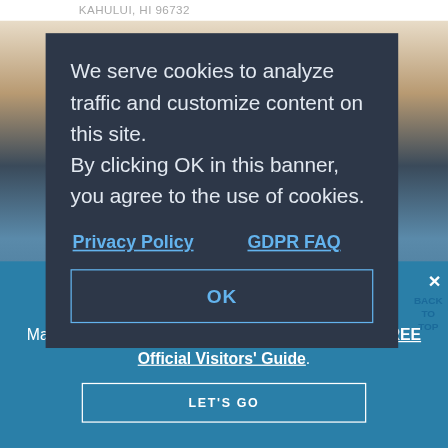KAHULUI, HI 96732
We serve cookies to analyze traffic and customize content on this site.
By clicking OK in this banner, you agree to the use of cookies.
Privacy Policy    GDPR FAQ
OK
BACK
TO
TOP
Dream It. Do it.
Make the most of your Hawaiian vacation with our FREE Official Visitors' Guide.
LET'S GO
×